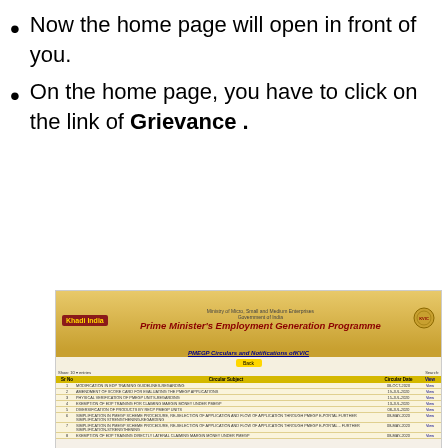Now the home page will open in front of you.
On the home page, you have to click on the link of Grievance .
[Figure (screenshot): Screenshot of the PMEGP (Prime Minister's Employment Generation Programme) website showing the Khadi India logo, government emblem, programme title banner in gold, and a table of PMEGP Circulars and Notifications of KVIC with entries including circular subjects, dates, and view links. An ad overlay is partially visible showing search bars for '5 Easy Ways to Start Investing' and 'Get the Best Eye Wrinkle Serum', with a Yahoo! Search | Sponsored footer.]